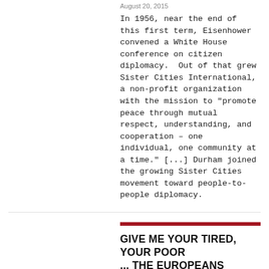August 20, 2015
In 1956, near the end of this first term, Eisenhower convened a White House conference on citizen diplomacy.  Out of that grew Sister Cities International, a non-profit organization with the mission to "promote peace through mutual respect, understanding, and cooperation – one individual, one community at a time." [...] Durham joined the growing Sister Cities movement toward people-to-people diplomacy.
GIVE ME YOUR TIRED, YOUR POOR ... THE EUROPEANS EMBRACING MIGRANTS
August 3, 2015
Away from the xenophobic hysteria